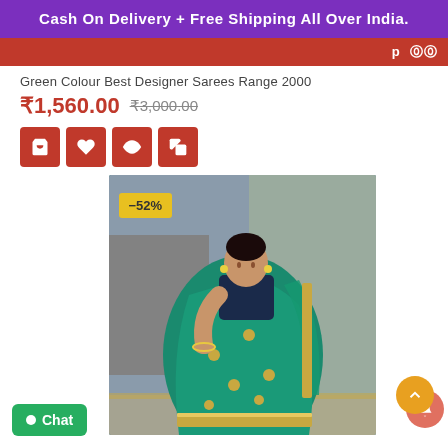Cash On Delivery + Free Shipping All Over India.
Green Colour Best Designer Sarees Range 2000
₹1,560.00  ₹3,000.00
[Figure (photo): Woman wearing a green embroidered designer saree with navy blue blouse, gold border trim, standing in front of a decorative floral backdrop. Discount badge showing -52%.]
Chat